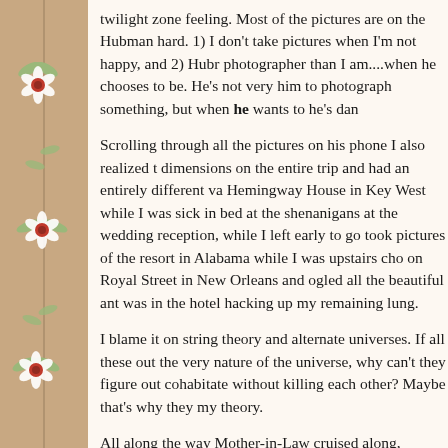twilight zone feeling. Most of the pictures are on the Hubman hard. 1) I don't take pictures when I'm not happy, and 2) Hubr photographer than I am....when he chooses to be. He's not very him to photograph something, but when he wants to he's dan
Scrolling through all the pictures on his phone I also realized t dimensions on the entire trip and had an entirely different va Hemingway House in Key West while I was sick in bed at the shenanigans at the wedding reception, while I left early to go took pictures of the resort in Alabama while I was upstairs cho on Royal Street in New Orleans and ogled all the beautiful ant was in the hotel hacking up my remaining lung.
I blame it on string theory and alternate universes. If all these out the very nature of the universe, why can't they figure out cohabitate without killing each other? Maybe that's why they my theory.
All along the way Mother-in-Law cruised along, unflappable